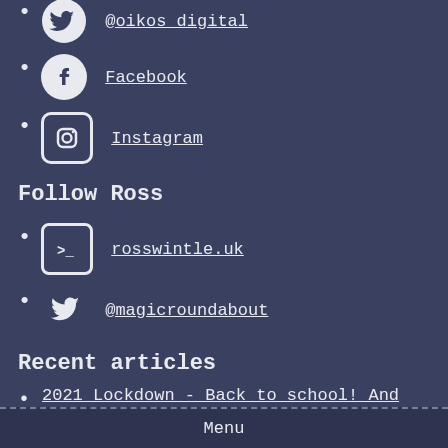@oikos_digital
Facebook
Instagram
Follow Ross
rosswintle.uk
@magicroundabout
Recent articles
2021 Lockdown - Back to school! And WordPress updates incoming next week.
Menu